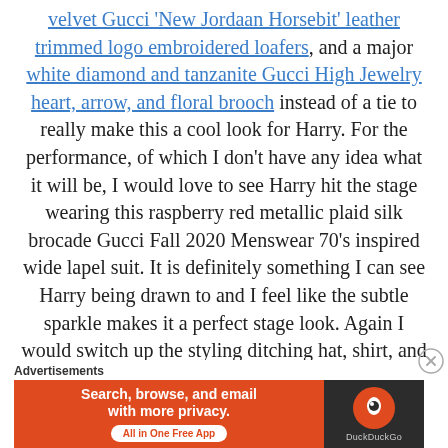velvet Gucci 'New Jordaan Horsebit' leather trimmed logo embroidered loafers, and a major white diamond and tanzanite Gucci High Jewelry heart, arrow, and floral brooch instead of a tie to really make this a cool look for Harry. For the performance, of which I don't have any idea what it will be, I would love to see Harry hit the stage wearing this raspberry red metallic plaid silk brocade Gucci Fall 2020 Menswear 70's inspired wide lapel suit. It is definitely something I can see Harry being drawn to and I feel like the subtle sparkle makes it a perfect stage look. Again I would switch up the styling ditching hat, shirt, and sweater from the runway in favor of a blush pink floral jacquard Gucci
[Figure (screenshot): DuckDuckGo advertisement banner with orange left panel reading 'Search, browse, and email with more privacy. All in One Free App' and dark right panel with DuckDuckGo logo]